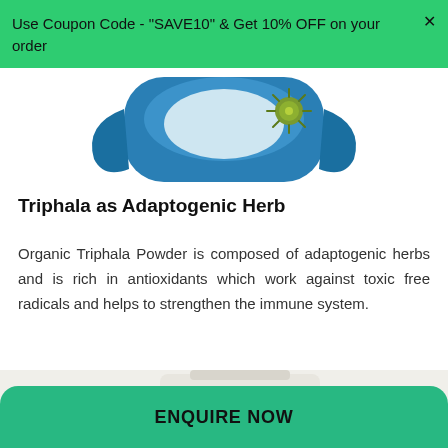Use Coupon Code - "SAVE10" & Get 10% OFF on your order
[Figure (illustration): Product image showing a blue face mask with a coronavirus/germ graphic on it, partially visible at top]
Triphala as Adaptogenic Herb
Organic Triphala Powder is composed of adaptogenic herbs and is rich in antioxidants which work against toxic free radicals and helps to strengthen the immune system.
[Figure (photo): Partial product photo at bottom showing a white/cream container, cut off at bottom edge]
ENQUIRE NOW